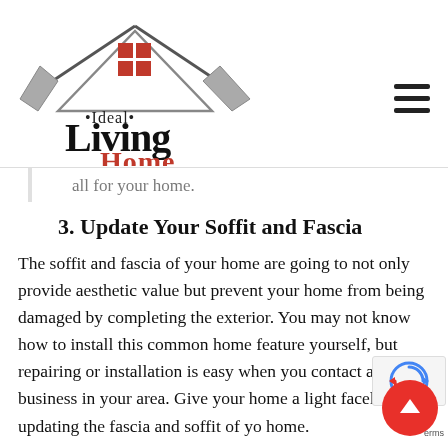[Figure (logo): Ideal Living Home logo with house silhouette, red window panes, and stylized text]
all for your home.
3. Update Your Soffit and Fascia
The soffit and fascia of your home are going to not only provide aesthetic value but prevent your home from being damaged by completing the exterior. You may not know how to install this common home feature yourself, but repairing or installation is easy when you contact a local business in your area. Give your home a light facelift by updating the fascia and soffit of your home.